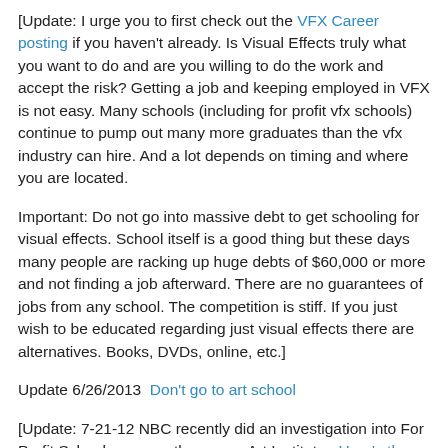[Update: I urge you to first check out the VFX Career posting if you haven't already. Is Visual Effects truly what you want to do and are you willing to do the work and accept the risk? Getting a job and keeping employed in VFX is not easy. Many schools (including for profit vfx schools) continue to pump out many more graduates than the vfx industry can hire. And a lot depends on timing and where you are located.
Important: Do not go into massive debt to get schooling for visual effects. School itself is a good thing but these days many people are racking up huge debts of $60,000 or more and not finding a job afterward. There are no guarantees of jobs from any school. The competition is stiff. If you just wish to be educated regarding just visual effects there are alternatives. Books, DVDs, online, etc.]
Update 6/26/2013  Don't go to art school
[Update: 7-21-12 NBC recently did an investigation into For Profit Schools, among those was Art Institute.  Here's the video.  Many For Profit Schools focus on signing up as many students as possible without regard to how suitable those